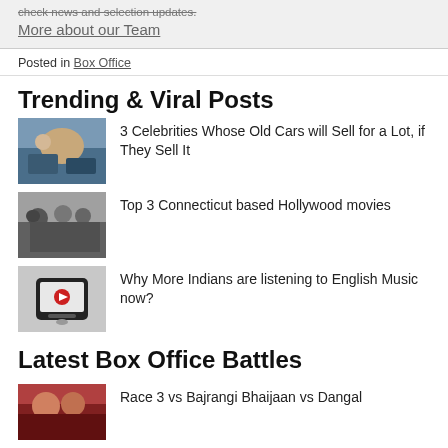More about our Team
Posted in Box Office
Trending & Viral Posts
3 Celebrities Whose Old Cars will Sell for a Lot, if They Sell It
Top 3 Connecticut based Hollywood movies
Why More Indians are listening to English Music now?
Latest Box Office Battles
Race 3 vs Bajrangi Bhaijaan vs Dangal